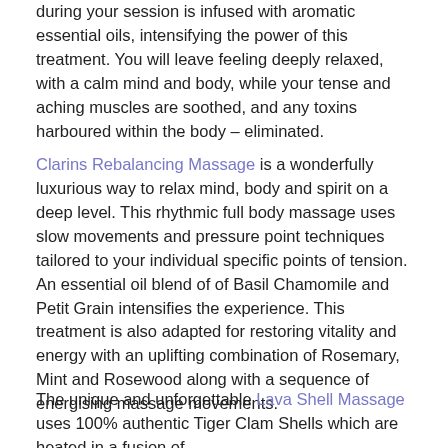during your session is infused with aromatic essential oils, intensifying the power of this treatment. You will leave feeling deeply relaxed, with a calm mind and body, while your tense and aching muscles are soothed, and any toxins harboured within the body – eliminated.
Clarins Rebalancing Massage is a wonderfully luxurious way to relax mind, body and spirit on a deep level. This rhythmic full body massage uses slow movements and pressure point techniques tailored to your individual specific points of tension. An essential oil blend of of Basil Chamomile and Petit Grain intensifies the experience. This treatment is also adapted for restoring vitality and energy with an uplifting combination of Rosemary, Mint and Rosewood along with a sequence of energising massage movements.
The unique and unforgettable Lava Shell Massage uses 100% authentic Tiger Clam Shells which are heated in a fusion of